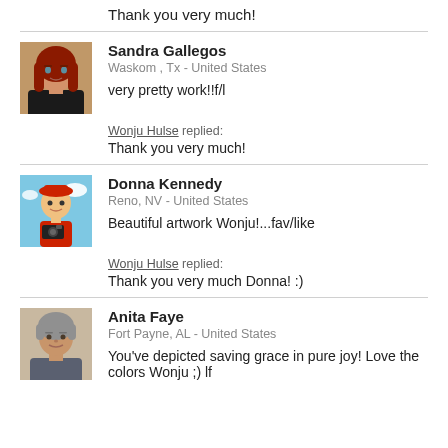Thank you very much!
Sandra Gallegos
Waskom , Tx - United States
very pretty work!!f/l
Wonju Hulse replied:
Thank you very much!
Donna Kennedy
Reno, NV - United States
Beautiful artwork Wonju!...fav/like
Wonju Hulse replied:
Thank you very much Donna! :)
Anita Faye
Fort Payne, AL - United States
You've depicted saving grace in pure joy! Love the colors Wonju ;) lf